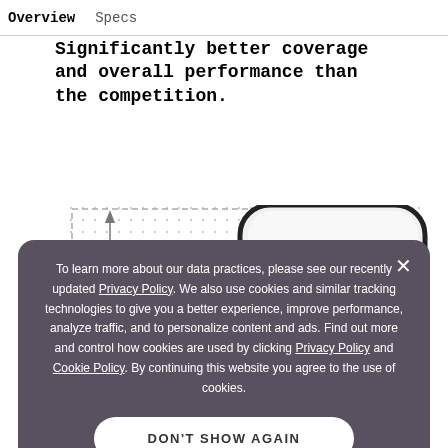Overview   Specs
Significantly better coverage and overall performance than the competition.
[Figure (illustration): Diagram showing a router with a dashed bounding box and a vertical arrow indicating increased size. Text reads 'Increase in size of router provides'. A large rounded-rectangle shape (router silhouette) is visible on the right.]
To learn more about our data practices, please see our recently updated Privacy Policy. We also use cookies and similar tracking technologies to give you a better experience, improve performance, analyze traffic, and to personalize content and ads. Find out more and control how cookies are used by clicking Privacy Policy and Cookie Policy. By continuing this website you agree to the use of cookies.
DON'T SHOW AGAIN